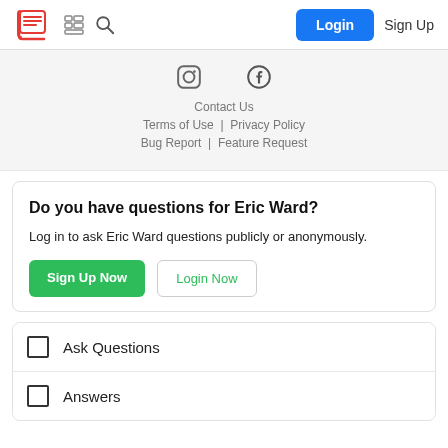Login | Sign Up
Contact Us
Terms of Use | Privacy Policy
Bug Report | Feature Request
Do you have questions for Eric Ward?
Log in to ask Eric Ward questions publicly or anonymously.
Sign Up Now | Login Now
Ask Questions
Answers